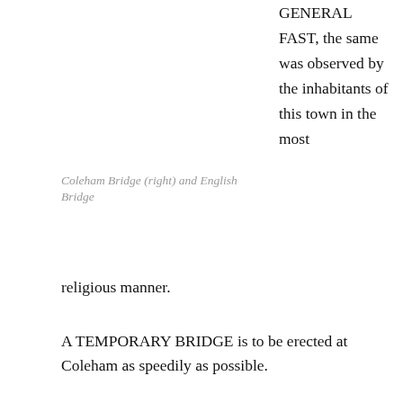GENERAL FAST, the same was observed by the inhabitants of this town in the most religious manner.
Coleham Bridge (right) and English Bridge
A TEMPORARY BRIDGE is to be erected at Coleham as speedily as possible.
[IN THE HOUSE OF COMMONS] Mr Windham moved that the sum of £3,063,968 be granted to His Majesty to defray the [unbudgeted] expenses of the land forces from 25th December 1793 to 24th December 1794.